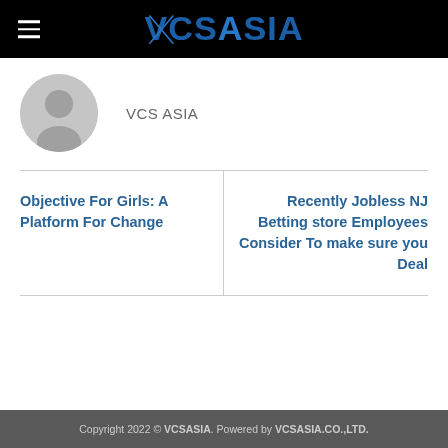VCS ASIA
VCS ASIA
Objective For Girls: A Platform For Change
Recently Jobless NJ Betting store Employees Consider To make sure you Deal
Copyright 2022 © VCSASIA. Powered by VCSASIA.CO.,LTD.